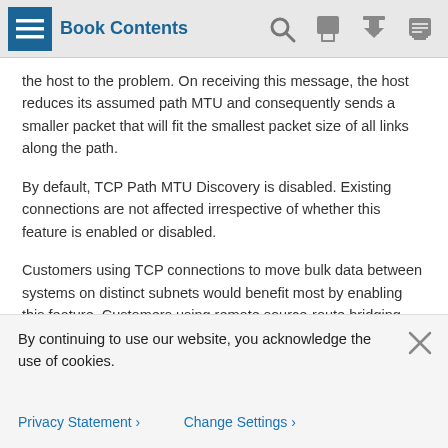Book Contents
the host to the problem. On receiving this message, the host reduces its assumed path MTU and consequently sends a smaller packet that will fit the smallest packet size of all links along the path.
By default, TCP Path MTU Discovery is disabled. Existing connections are not affected irrespective of whether this feature is enabled or disabled.
Customers using TCP connections to move bulk data between systems on distinct subnets would benefit most by enabling this feature. Customers using remote source-route bridging (RSRB) with TCP encapsulation, serial tunnel (STUN), X.25 Remote Switching (also known as XOT or X.25 over TCP), and some protocol translation configurations might also benefit from enabling this feature.
By continuing to use our website, you acknowledge the use of cookies.
Privacy Statement  Change Settings